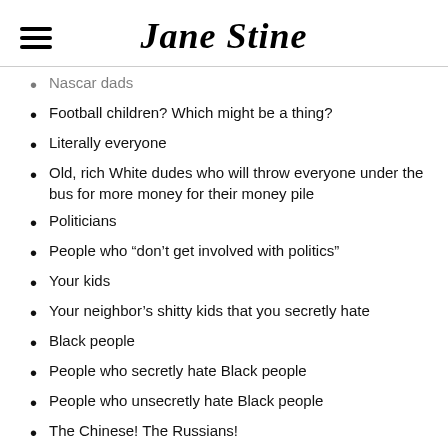Jane Stine
Nascar dads
Football children? Which might be a thing?
Literally everyone
Old, rich White dudes who will throw everyone under the bus for more money for their money pile
Politicians
People who “don’t get involved with politics”
Your kids
Your neighbor’s shitty kids that you secretly hate
Black people
People who secretly hate Black people
People who unsecretly hate Black people
The Chinese! The Russians!
Your future grandchildren
Your dog
Honestly, even your dog